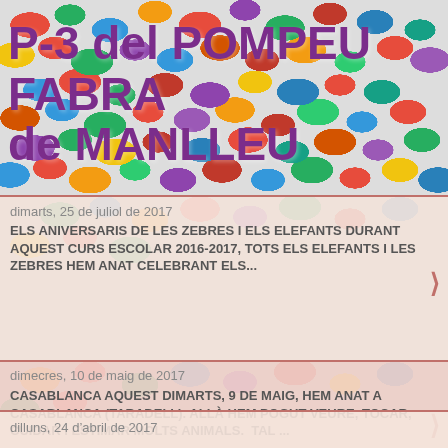[Figure (photo): Colorful jelly beans filling the header background]
P-3 del POMPEU FABRA de MANLLEU
dimarts, 25 de juliol de 2017
ELS ANIVERSARIS DE LES ZEBRES I ELS ELEFANTS DURANT AQUEST CURS ESCOLAR 2016-2017, TOTS ELS ELEFANTS I LES ZEBRES HEM ANAT CELEBRANT ELS...
dimecres, 10 de maig de 2017
CASABLANCA AQUEST DIMARTS, 9 DE MAIG, HEM ANAT A CASABLANCA (TARADELL). ALLÀ HEM POGUT VEURE, TOCAR, CUIDAR I ESTIMAR MOLTS ANIMALS.  TAL ...
dilluns, 24 d'abril de 2017